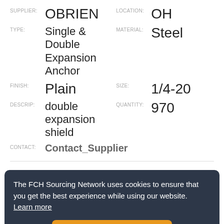SUPPLIER: OBRIEN   LOCATION: OH
TYPE: Single & Double Expansion Anchor   MATERIAL: Steel
FINISH: Plain   SIZE: 1/4-20
DESCRIP: double expansion shield   QUANTITY: 970
CONTACT: Contact_Supplier
SUPPLIER: OBRIEN   LOCATION: OH
The FCH Sourcing Network uses cookies to ensure that you get the best experience while using our website. Learn more
Got it!